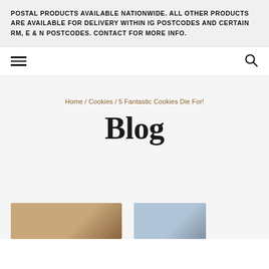POSTAL PRODUCTS AVAILABLE NATIONWIDE. ALL OTHER PRODUCTS ARE AVAILABLE FOR DELIVERY WITHIN IG POSTCODES AND CERTAIN RM, E & N POSTCODES. CONTACT FOR MORE INFO.
Navigation bar with hamburger menu and search icon
Home / Cookies / 5 Fantastic Cookies Die For!
Blog
[Figure (photo): Partial image strip at bottom showing cookies or baked goods photos]